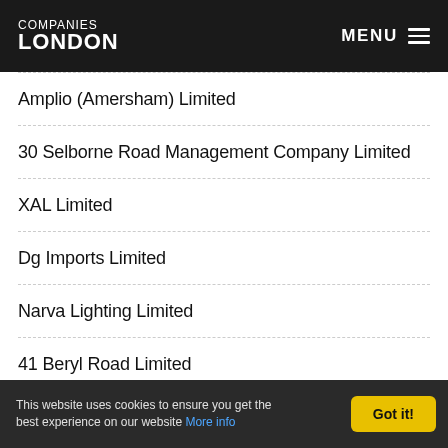COMPANIES LONDON  MENU
Amplio (Amersham) Limited
30 Selborne Road Management Company Limited
XAL Limited
Dg Imports Limited
Narva Lighting Limited
41 Beryl Road Limited
Kilfera Limited
This website uses cookies to ensure you get the best experience on our website More info  Got it!